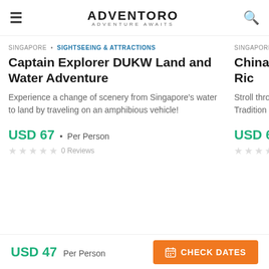ADVENTORO — ADVENTURE AWAITS
SINGAPORE • SIGHTSEEING & ATTRACTIONS
Captain Explorer DUKW Land and Water Adventure
Experience a change of scenery from Singapore's water to land by traveling on an amphibious vehicle!
USD 67 • Per Person
0 Reviews
SINGAPORE • SIGHTSEEING & ATTRACTIONS
Chinatown Night and Bumboat Ride
Stroll through Chinatown, handicrafts, sample learn about Tradition
USD 60 • Per Person
0 Reviews
ADVENTURE AWAITS
Home • About Us • Contact Us • Terms of Use • Privacy
USD 47 Per Person
CHECK DATES